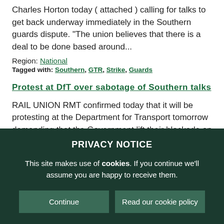Charles Horton today ( attached ) calling for talks to get back underway immediately in the Southern guards dispute. "The union believes that there is a deal to be done based around...
Region: National
Tagged with: Southern, GTR, Strike, Guards
Protest at DfT over sabotage of Southern talks
RAIL UNION RMT confirmed today that it will be protesting at the Department for Transport tomorrow demanding that the Government lift their blockade on a peace deal in the
PRIVACY NOTICE
This site makes use of cookies. If you continue we'll assume you are happy to receive them.
Continue
Read our cookie policy